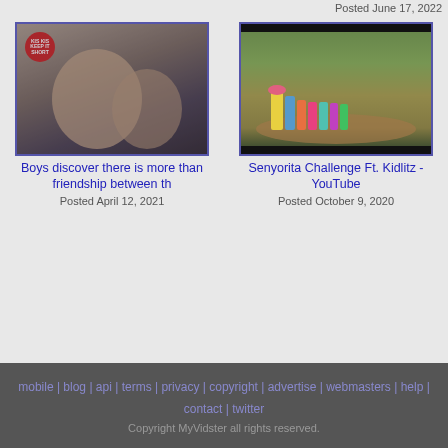Posted June 17, 2022
[Figure (photo): Two boys looking upward, with a KIS KIS badge overlay in top left corner]
Boys discover there is more than friendship between th
Posted April 12, 2021
[Figure (photo): Group of children outdoors in a forest/nature setting, one in yellow shirt and pink hat]
Senyorita Challenge Ft. Kidlitz - YouTube
Posted October 9, 2020
mobile | blog | api | terms | privacy | copyright | advertise | webmasters | help | contact | twitter
Copyright MyVidster all rights reserved.